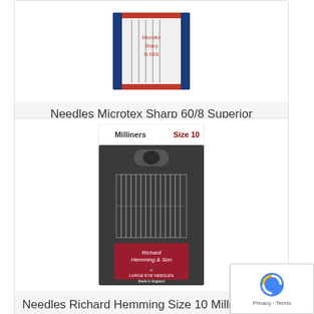[Figure (photo): Product photo of Needles Microtex Sharp 60/8 Superior needle package with red and white packaging showing needles]
Needles Microtex Sharp 60/8 Superior
$6.99
[Figure (photo): Product photo of Richard Hemming & Son Milliners Size 10 Large Eye Needles 16ct package, dark packaging with needles visible and red label with eagle logo]
Needles Richard Hemming Size 10 Milliners 16ct
[Figure (logo): Google reCAPTCHA badge with Privacy and Terms text]